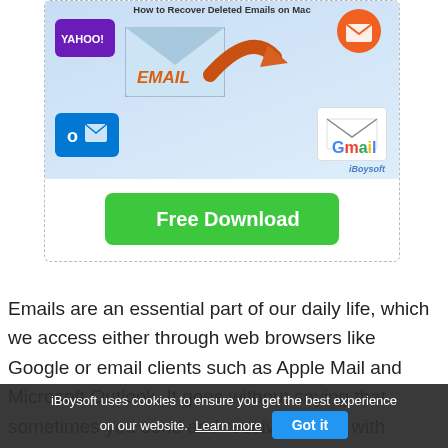[Figure (illustration): iBoysoft advertisement showing email recovery graphic with Yahoo, Outlook, Gmail icons, envelope with EMAIL label, orange arrow, and iBoysoft watermark]
[Figure (illustration): Green Apple-style Free Download button]
Emails are an essential part of our daily life, which we access either through web browsers like Google or email clients such as Apple Mail and Microsoft Outlook. It goes without saying that sometimes you send and receive emails with valuable information.
iBoysoft uses cookies to ensure you get the best experience on our website.  Learn more   Got it